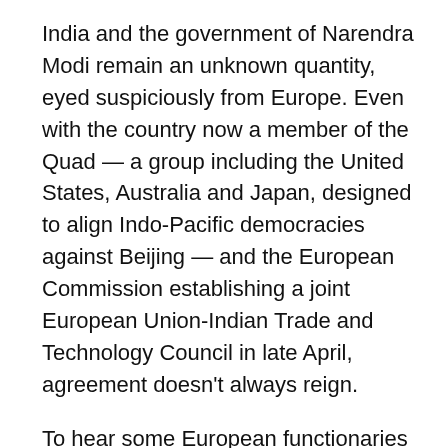India and the government of Narendra Modi remain an unknown quantity, eyed suspiciously from Europe. Even with the country now a member of the Quad — a group including the United States, Australia and Japan, designed to align Indo-Pacific democracies against Beijing — and the European Commission establishing a joint European Union-Indian Trade and Technology Council in late April, agreement doesn't always reign.
To hear some European functionaries tell it, one would think India was on the same level as China when it comes to assisting Russia's management of its newfound pariah status. But despite conflicting visions, this simply isn't the case. It overlooks the importance of building closer ties — even if difficult.
During her trip to New Delhi in April, Commission President Ursula von der